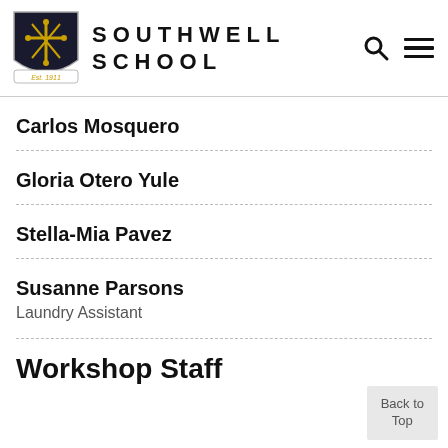Southwell School
Carlos Mosquero
Gloria Otero Yule
Stella-Mia Pavez
Susanne Parsons
Laundry Assistant
Workshop Staff